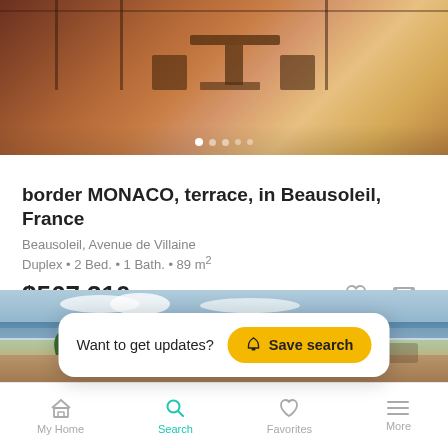[Figure (photo): Terrace/balcony photo showing outdoor table and chairs with wooden decking and railings, warm tones]
border MONACO, terrace, in Beausoleil, France
Beausoleil, Avenue de Villaine
Duplex • 2 Bed. • 1 Bath. • 89 m²
$567,310
[Figure (photo): Rooftop terrace with sea view, blue sky, clouds, plants and outdoor furniture]
Want to get updates? Save search
My Home  Search  Favorites  More